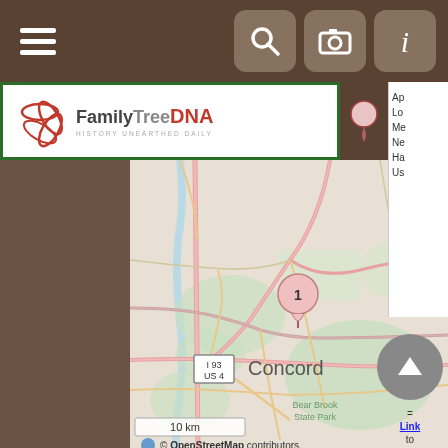[Figure (screenshot): FamilyTreeDNA mobile app screenshot showing a map view centered on Concord, New Hampshire with a location pin marker labeled '1', top navigation bar with hamburger menu and search/camera/info icons, FamilyTreeDNA logo, scale bar showing 10 km, OpenStreetMap attribution, and a right-side panel with partially visible menu items.]